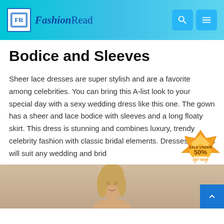FashionRead
Bodice and Sleeves
Sheer lace dresses are super stylish and are a favorite among celebrities. You can bring this A-list look to your special day with a sexy wedding dress like this one. The gown has a sheer and lace bodice with sleeves and a long floaty skirt. This dress is stunning and combines luxury, trendy celebrity fashion with classic bridal elements. Dresses like this will suit any wedding and brid
[Figure (photo): A woman model in a wedding dress, photographed from the upper body, with blonde hair and a neutral/beige background. Partially visible at the bottom of the page.]
[Figure (infographic): Sale badge: golden/orange crown badge with text 'SALE UNDER 50% GET NOW']